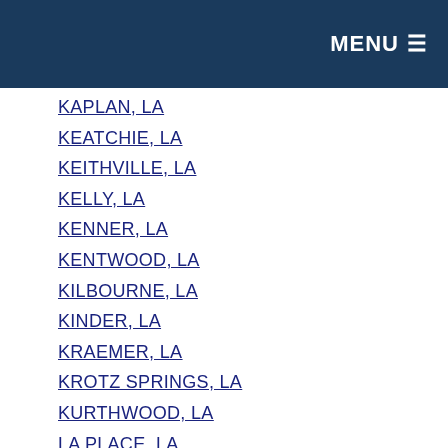MENU
KAPLAN, LA
KEATCHIE, LA
KEITHVILLE, LA
KELLY, LA
KENNER, LA
KENTWOOD, LA
KILBOURNE, LA
KINDER, LA
KRAEMER, LA
KROTZ SPRINGS, LA
KURTHWOOD, LA
LA PLACE, LA
LABADIEVILLE, LA
LACASSINE, LA
LACOMBE, LA